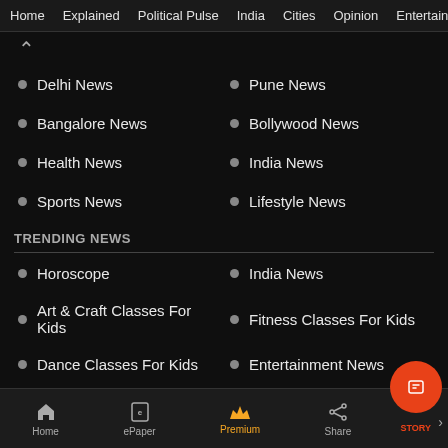Home  Explained  Political Pulse  India  Cities  Opinion  Entertainment
Delhi News
Pune News
Bangalore News
Bollywood News
Health News
India News
Sports News
Lifestyle News
TRENDING NEWS
Horoscope
India News
Art & Craft Classes For Kids
Fitness Classes For Kids
Dance Classes For Kids
Entertainment News
UPSC News
IPL 2022 News
Home  ePaper  Premium  Share  STORY